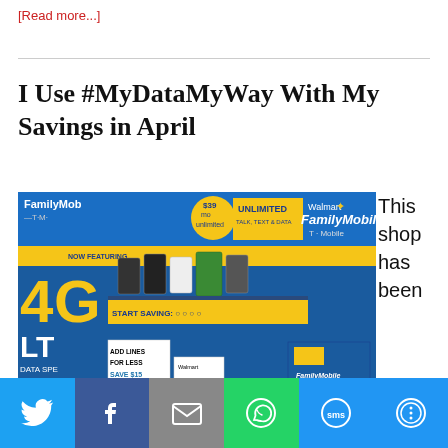[Read more...]
I Use #MyDataMyWay With My Savings in April
[Figure (photo): Walmart Family Mobile phone display kiosk in a store, showing phones on a shelf, 4G LTE branding, $39/mo unlimited plan sign, 'ADD LINES FOR LESS SAVE $15' box, and Walmart Family Mobile branded phone boxes]
This shop has been
[Figure (infographic): Social media share bar with Twitter, Facebook, Email, WhatsApp, SMS, and More buttons]